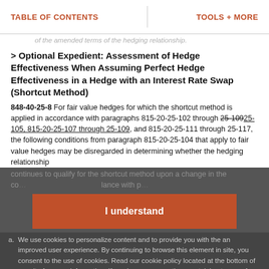TABLE OF CONTENTS    TOOLS + MORE
of the amended terms of the hedging relationship.
> Optional Expedient: Assessment of Hedge Effectiveness When Assuming Perfect Hedge Effectiveness in a Hedge with an Interest Rate Swap (Shortcut Method)
848-40-25-8 For fair value hedges for which the shortcut method is applied in accordance with paragraphs 815-20-25-102 through 25-10925-105, 815-20-25-107 through 25-109, and 815-20-25-111 through 25-117, the following conditions from paragraph 815-20-25-104 that apply to fair value hedges may be disregarded in determining whether the hedging relationship continues to qualify for the shortcut method upon a change in the co… lance with p…
a. We use cookies to personalize content and to provide you with an improved user experience. By continuing to browse this site, you consent to the use of cookies. Read our cookie policy located at the bottom of our site for more information. If you have any questions pertaining to any of the cookies, please contact us us_viewpoint.support@pwc.com.